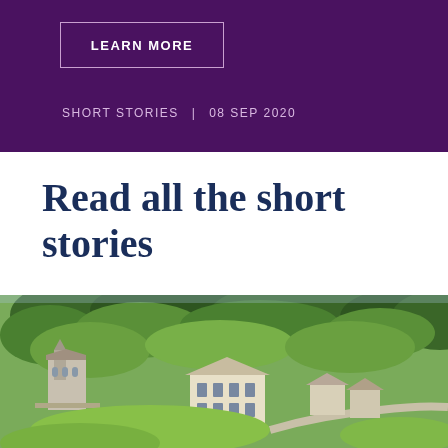LEARN MORE
SHORT STORIES   08 SEP 2020
Read all the short stories
[Figure (photo): Aerial view of an English village with a stone church, manor house, surrounding trees and greenery, and roads visible from above on a sunny day.]